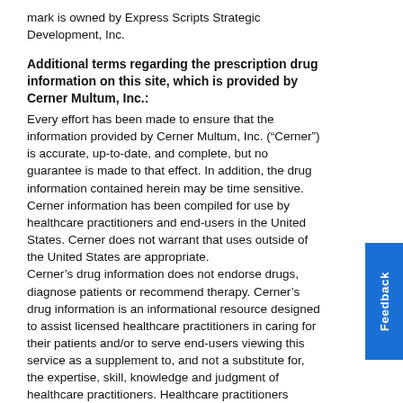mark is owned by Express Scripts Strategic Development, Inc.
Additional terms regarding the prescription drug information on this site, which is provided by Cerner Multum, Inc.:
Every effort has been made to ensure that the information provided by Cerner Multum, Inc. (“Cerner”) is accurate, up-to-date, and complete, but no guarantee is made to that effect. In addition, the drug information contained herein may be time sensitive. Cerner information has been compiled for use by healthcare practitioners and end-users in the United States. Cerner does not warrant that uses outside of the United States are appropriate.
Cerner’s drug information does not endorse drugs, diagnose patients or recommend therapy. Cerner’s drug information is an informational resource designed to assist licensed healthcare practitioners in caring for their patients and/or to serve end-users viewing this service as a supplement to, and not a substitute for, the expertise, skill, knowledge and judgment of healthcare practitioners. Healthcare practitioners should use their professional judgment in using the information provided. The absence of a warning for a given drug or drug combination in no way should be construed to indicate that the drug or drug combination is safe, effective or appropriate for any given patient. Cerner does not assume any responsibility for any aspect